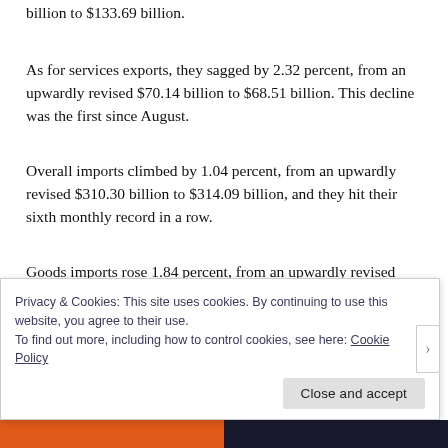billion to $133.69 billion.
As for services exports, they sagged by 2.32 percent, from an upwardly revised $70.14 billion to $68.51 billion. This decline was the first since August.
Overall imports climbed by 1.04 percent, from an upwardly revised $310.30 billion to $314.09 billion, and they hit their sixth monthly record in a row.
Goods imports rose 1.84 percent, from an upwardly revised $259.96 billion to $264.75
Privacy & Cookies: This site uses cookies. By continuing to use this website, you agree to their use.
To find out more, including how to control cookies, see here: Cookie Policy